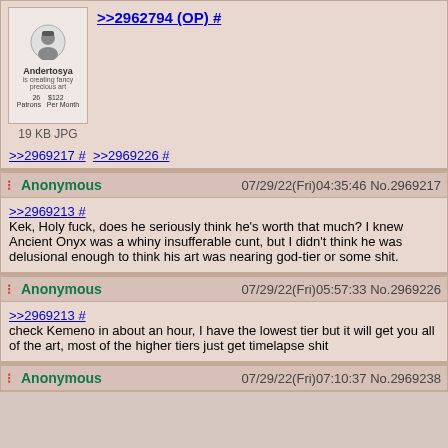[Figure (screenshot): Thumbnail of a Patreon profile page for 'Andertosya' showing avatar, patron/pledge counts]
19 KB JPG
>>2962794 (OP) #
>>2969217 #  >>2969226 #
Anonymous  07/29/22(Fri)04:35:46 No.2969217
>>2969213 #
Kek, Holy fuck, does he seriously think he's worth that much? I knew Ancient Onyx was a whiny insufferable cunt, but I didn't think he was delusional enough to think his art was nearing god-tier or some shit.
Anonymous  07/29/22(Fri)05:57:33 No.2969226
>>2969213 #
check Kemeno in about an hour, I have the lowest tier but it will get you all of the art, most of the higher tiers just get timelapse shit
Anonymous  07/29/22(Fri)07:10:37 No.2969238